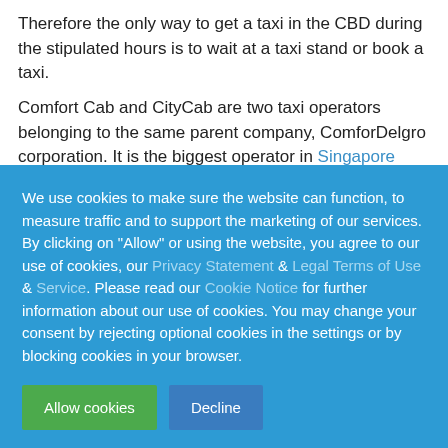Therefore the only way to get a taxi in the CBD during the stipulated hours is to wait at a taxi stand or book a taxi.

Comfort Cab and CityCab are two taxi operators belonging to the same parent company, ComforDelgro corporation. It is the biggest operator in Singapore with a fleet of more than 15,000 blue taxis. It is also the most high-tech group, with an efficient booking system, credit card / NETS payment, and tourist navigation systems for the passenger in the rear seat (in power cabs).
We use cookies to make sure the website can function, to measure traffic and to support the marketing of our services. By clicking on "Allow" or using the website, you agree to our use of cookies, our Privacy Statement & Legal Terms of Use & Service. Please read our Cookie Notice for further information about our use of cookies. You may change your consent by rejecting optional cookies in the settings or by blocking cookies in your browser.